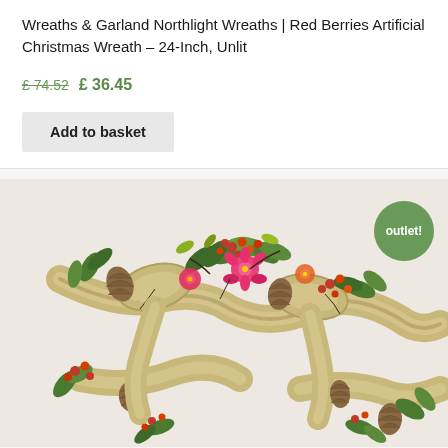Wreaths & Garland Northlight Wreaths | Red Berries Artificial Christmas Wreath – 24-Inch, Unlit
£ 74.52  £ 36.45
Add to basket
[Figure (photo): Artificial Christmas wreath made with burlap ribbon, pine cones, red berries, and colorful autumn/holiday flowers and green leaves. An 'outlet!' badge in green circle is overlaid top-right.]